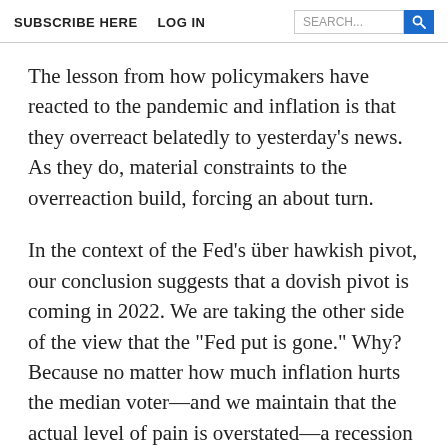SUBSCRIBE HERE   LOG IN
The lesson from how policymakers have reacted to the pandemic and inflation is that they overreact belatedly to yesterday’s news. As they do, material constraints to the overreaction build, forcing an about turn.
In the context of the Fed’s über hawkish pivot, our conclusion suggests that a dovish pivot is coming in 2022. We are taking the other side of the view that the “Fed put is gone.” Why? Because no matter how much inflation hurts the median voter—and we maintain that the actual level of pain is overstated—a recession will hurt more.
The current Fed trajectory, given the peak in